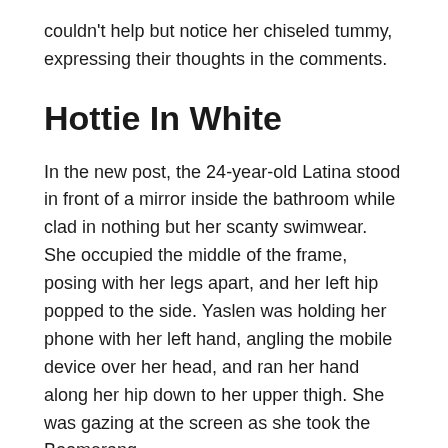couldn't help but notice her chiseled tummy, expressing their thoughts in the comments.
Hottie In White
In the new post, the 24-year-old Latina stood in front of a mirror inside the bathroom while clad in nothing but her scanty swimwear. She occupied the middle of the frame, posing with her legs apart, and her left hip popped to the side. Yaslen was holding her phone with her left hand, angling the mobile device over her head, and ran her hand along her hip down to her upper thigh. She was gazing at the screen as she took the Boomerang.
The sunlight that came from the nearby glass